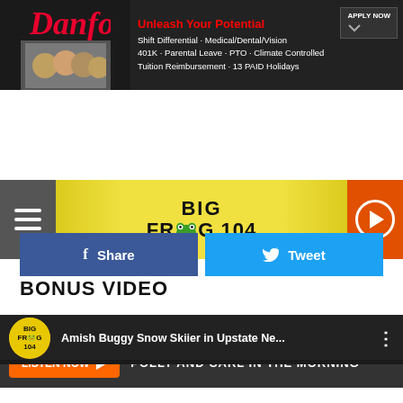[Figure (screenshot): Danfoss advertisement banner - top. Dark background with Danfoss red script logo on left, group photo of young people, headline 'Unleash Your Potential' in red, bullet points listing benefits, and 'APPLY NOW' button.]
[Figure (screenshot): Big Frog 104 radio station navigation bar with hamburger menu on left, Big Frog 104 logo in center on yellow gradient background, and orange play button on right.]
[Figure (screenshot): Listen Now bar with orange 'LISTEN NOW' button with play arrow, followed by white text 'POLLY AND CARL IN THE MORNING' on dark background.]
[Figure (screenshot): Facebook Share button (blue) and Twitter Tweet button (light blue) side by side.]
BONUS VIDEO
[Figure (screenshot): YouTube video embed showing 'Amish Buggy Snow Skiier in Upstate Ne...' with Big Frog 104 logo, video thumbnail in dark background with YouTube red play button in center, and three-dot menu icon.]
[Figure (screenshot): Danfoss advertisement banner - bottom. Same as top banner but smaller. Dark background with Danfoss red script logo, group photo, 'Unleash Your Potential' headline, benefits bullet points, and 'APPLY NOW' button.]